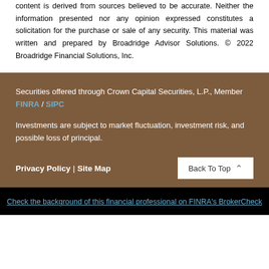content is derived from sources believed to be accurate. Neither the information presented nor any opinion expressed constitutes a solicitation for the purchase or sale of any security. This material was written and prepared by Broadridge Advisor Solutions. © 2022 Broadridge Financial Solutions, Inc.
Securities offered through Crown Capital Securities, L.P., Member FINRA / SIPC
Investments are subject to market fluctuation, investment risk, and possible loss of principal.
Privacy Policy | Site Map
Back To Top
Check the background of this financial professional on FINRA's BrokerCheck